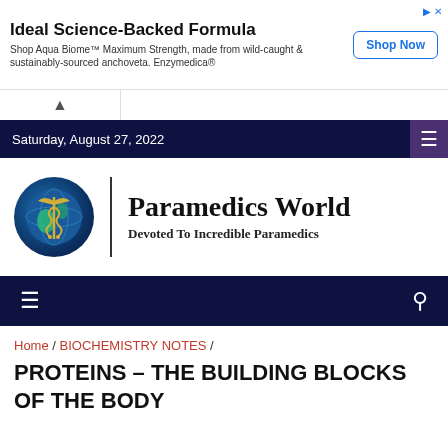[Figure (other): Advertisement banner: Ideal Science-Backed Formula, Aqua Biome product with Shop Now button]
Saturday, August 27, 2022
[Figure (logo): Paramedics World logo: caduceus on globe, with site name Paramedics World and tagline Devoted To Incredible Paramedics]
Home / BIOCHEMISTRY NOTES / PROTEINS – THE BUILDING BLOCKS OF THE BODY